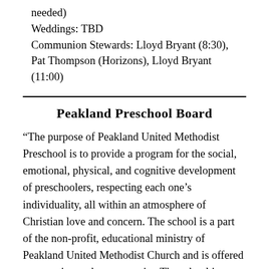needed)
Weddings: TBD
Communion Stewards: Lloyd Bryant (8:30), Pat Thompson (Horizons), Lloyd Bryant (11:00)
Peakland Preschool Board
“The purpose of Peakland United Methodist Preschool is to provide a program for the social, emotional, physical, and cognitive development of preschoolers, respecting each one’s individuality, all within an atmosphere of Christian love and concern. The school is a part of the non-profit, educational ministry of Peakland United Methodist Church and is offered as a service to the community. The school is open to all children regardless of race,